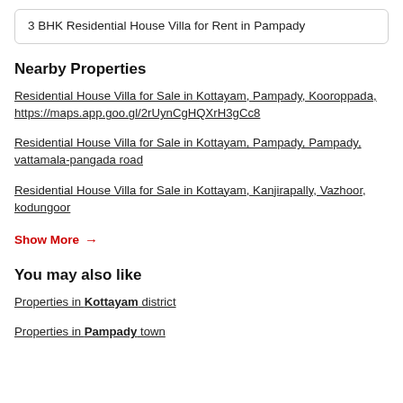3 BHK Residential House Villa for Rent in Pampady
Nearby Properties
Residential House Villa for Sale in Kottayam, Pampady, Kooroppada, https://maps.app.goo.gl/2rUynCgHQXrH3gCc8
Residential House Villa for Sale in Kottayam, Pampady, Pampady, vattamala-pangada road
Residential House Villa for Sale in Kottayam, Kanjirapally, Vazhoor, kodungoor
Show More →
You may also like
Properties in Kottayam district
Properties in Pampady town